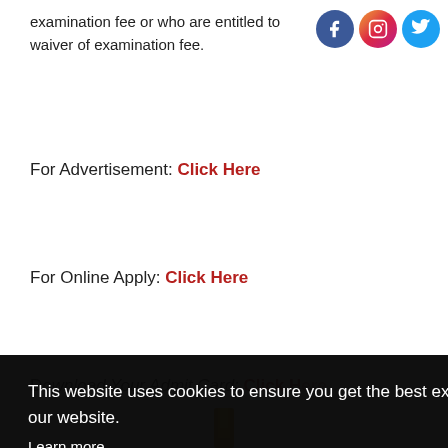examination fee or who are entitled to waiver of examination fee.
For Advertisement: Click Here
For Online Apply: Click Here
Download Your Admit Card: Click Here
[Figure (screenshot): Cookie consent overlay with black background, text 'This website uses cookies to ensure you get the best experience on our website.', 'Learn more' link, and a yellow 'Got it!' button. Social media icons (dark squares and red/blue) visible on the right.]
[Figure (photo): Partial image at bottom center, appears to be a statue or golden figure, partially cut off.]